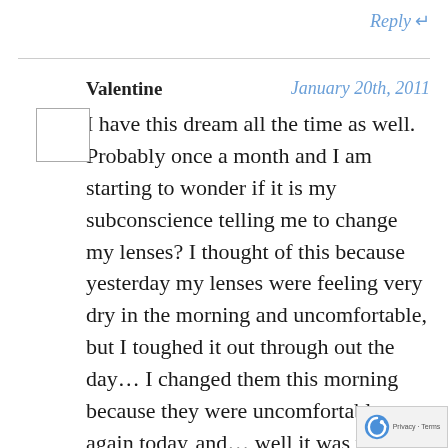Reply ↵
Valentine   January 20th, 2011
I have this dream all the time as well. Probably once a month and I am starting to wonder if it is my subconscience telling me to change my lenses? I thought of this because yesterday my lenses were feeling very dry in the morning and uncomfortable, but I toughed it out through out the day… I changed them this morning because they were uncomfortable again today and… well it was time to put in some…